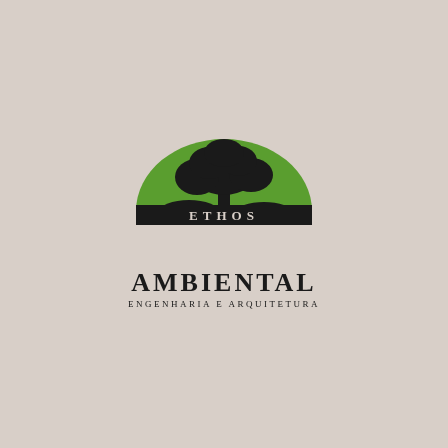[Figure (logo): Ethos Ambiental logo: a green semicircle with a black tree silhouette, with the word ETHOS across the flat base of the semicircle, followed by AMBIENTAL in bold serif and ENGENHARIA E ARQUITETURA in small caps below]